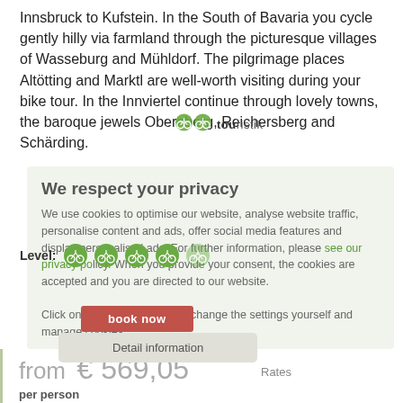Innsbruck to Kufstein. In the South of Bavaria you cycle gently hilly via farmland through the picturesque villages of Wasseburg and Mühldorf. The pilgrimage places Altötting and Marktl are well-worth visiting during your bike tour. In the Innviertel continue through lovely towns, the baroque jewels Obernberg, Reichersberg and Schärding.
[Figure (logo): Touristik logo with cycling icon and text 'touristik']
We respect your privacy
We use cookies to optimise our website, analyse website traffic, personalise content and ads, offer social media features and display personalised ads. For further information, please see our privacy policy. When you provide your consent, the cookies are accepted and you are directed to our website.
Click on advanced settings to change the settings yourself and manage cookies.
Level:
book now
Detail information
Rates
from  € 569,05
per person
7 Days/6 Nights